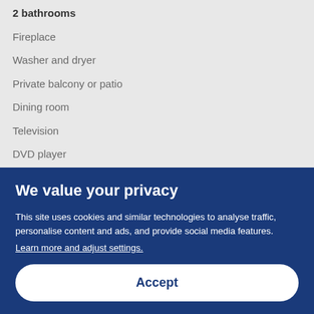2 bathrooms
Fireplace
Washer and dryer
Private balcony or patio
Dining room
Television
DVD player
Fridge
Microwave
Oven
Hob
We value your privacy
This site uses cookies and similar technologies to analyse traffic, personalise content and ads, and provide social media features. Learn more and adjust settings.